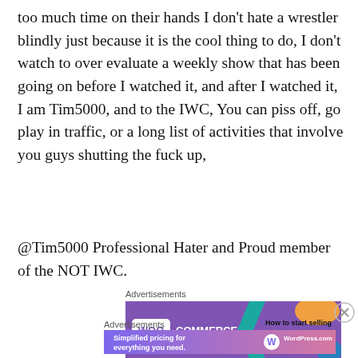too much time on their hands I don't hate a wrestler blindly just because it is the cool thing to do, I don't watch to over evaluate a weekly show that has been going on before I watched it, and after I watched it, I am Tim5000, and to the IWC, You can piss off, go play in traffic, or a long list of activities that involve you guys shutting the fuck up,
@Tim5000 Professional Hater and Proud member of the NOT IWC.
[Figure (other): WooCommerce advertisement banner: purple background with WooCommerce logo, teal arrow shape, orange blob shape, text 'How to start selling subscriptions online']
[Figure (other): WordPress.com advertisement banner: gradient purple-pink background with text 'Simplified pricing for everything you need.' and WordPress.com logo]